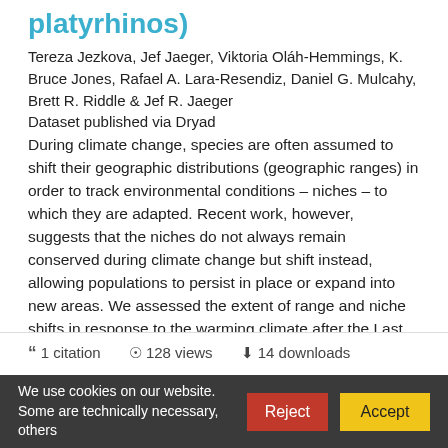platyrhinos)
Tereza Jezkova, Jef Jaeger, Viktoria Oláh-Hemmings, K. Bruce Jones, Rafael A. Lara-Resendiz, Daniel G. Mulcahy, Brett R. Riddle & Jef R. Jaeger
Dataset published via Dryad
During climate change, species are often assumed to shift their geographic distributions (geographic ranges) in order to track environmental conditions – niches – to which they are adapted. Recent work, however, suggests that the niches do not always remain conserved during climate change but shift instead, allowing populations to persist in place or expand into new areas. We assessed the extent of range and niche shifts in response to the warming climate after the Last...
1 citation   128 views   14 downloads
We use cookies on our website. Some are technically necessary, others
Reject
Accept